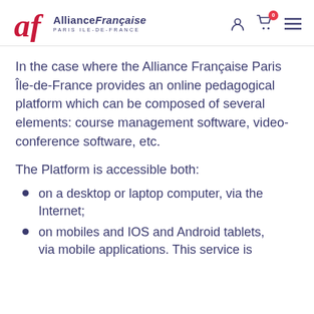Alliance Française Paris Île-de-France — logo and navigation header
In the case where the Alliance Française Paris Île-de-France provides an online pedagogical platform which can be composed of several elements: course management software, video-conference software, etc.
The Platform is accessible both:
on a desktop or laptop computer, via the Internet;
on mobiles and IOS and Android tablets, via mobile applications. This service is...